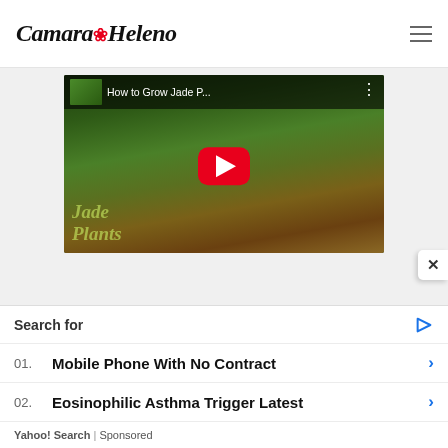Camara Heleno
[Figure (screenshot): YouTube video thumbnail for 'How to Grow Jade P...' showing a garden/plant nursery with green plants and a red YouTube play button overlay]
Search for
01. Mobile Phone With No Contract
02. Eosinophilic Asthma Trigger Latest
Yahoo! Search | Sponsored